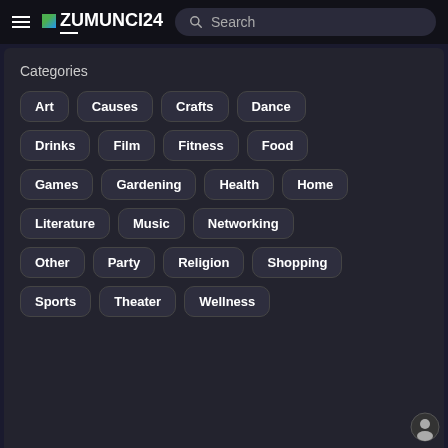ZUMUNCI24 Search
Categories
Art
Causes
Crafts
Dance
Drinks
Film
Fitness
Food
Games
Gardening
Health
Home
Literature
Music
Networking
Other
Party
Religion
Shopping
Sports
Theater
Wellness
This website uses cookies to ensure the best experience on our website
Learn More
Got It!